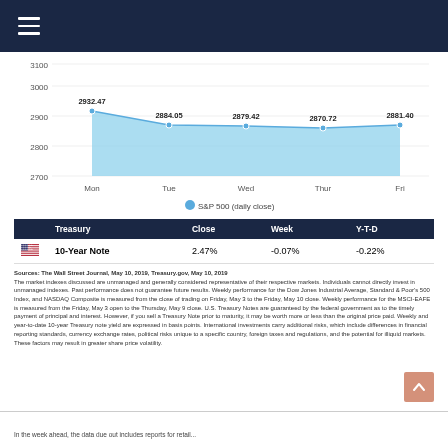[Figure (area-chart): S&P 500 (daily close)]
|  | Treasury | Close | Week | Y-T-D |
| --- | --- | --- | --- | --- |
| [flag] | 10-Year Note | 2.47% | -0.07% | -0.22% |
Sources: The Wall Street Journal, May 10, 2019, Treasury.gov, May 10, 2019
The market indexes discussed are unmanaged and generally considered representative of their respective markets. Individuals cannot directly invest in unmanaged indexes. Past performance does not guarantee future results. Weekly performance for the Dow Jones Industrial Average, Standard & Poor's 500 Index, and NASDAQ Composite is measured from the close of trading on Friday, May 3 to the Friday, May 10 close. Weekly performance for the MSCI-EAFE is measured from the Friday, May 3 open to the Thursday, May 9 close. U.S. Treasury Notes are guaranteed by the federal government as to the timely payment of principal and interest. However, if you sell a Treasury Note prior to maturity, it may be worth more or less than the original price paid. Weekly and year-to-date 10-year Treasury note yield are expressed in basis points. International investments carry additional risks, which include differences in financial reporting standards, currency exchange rates, political risks unique to a specific country, foreign taxes and regulations, and the potential for illiquid markets. These factors may result in greater share price volatility.